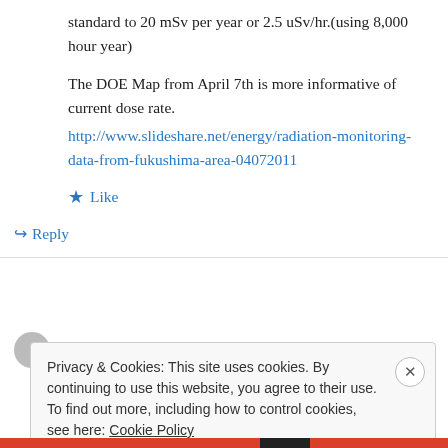standard to 20 mSv per year or 2.5 uSv/hr.(using 8,000 hour year)
The DOE Map from April 7th is more informative of current dose rate.
http://www.slideshare.net/energy/radiation-monitoring-data-from-fukushima-area-04072011
★ Like
↳ Reply
Privacy & Cookies: This site uses cookies. By continuing to use this website, you agree to their use.
To find out more, including how to control cookies, see here: Cookie Policy
Close and accept